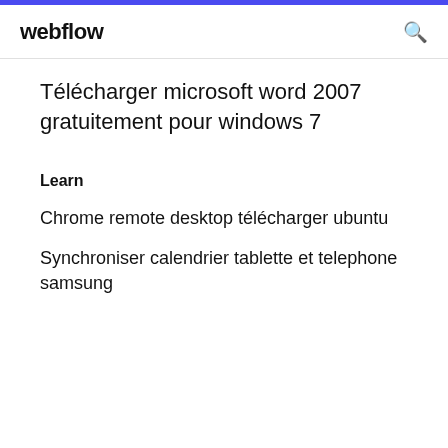webflow
Télécharger microsoft word 2007 gratuitement pour windows 7
Learn
Chrome remote desktop télécharger ubuntu
Synchroniser calendrier tablette et telephone samsung